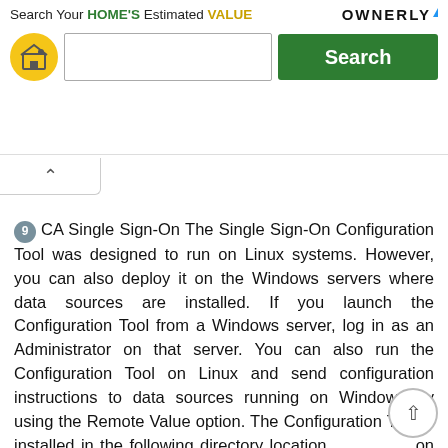[Figure (screenshot): Advertisement banner for Ownerly with text 'Search Your HOME'S Estimated VALUE', a search input box, and a green Search button.]
9 CA Single Sign-On The Single Sign-On Configuration Tool was designed to run on Linux systems. However, you can also deploy it on the Windows servers where data sources are installed. If you launch the Configuration Tool from a Windows server, log in as an Administrator on that server. You can also run the Configuration Tool on Linux and send configuration instructions to data sources running on Windows by using the Remote Value option. The Configuration Tool is installed in the following directory location on Linux: [InstallationDirectory]/CA/PerformanceCenter On Windows servers where the data sources are installed, the Configuration Tool is installed in the following directory: [InstallationDirectory]\Portal\SSO\bin\SsoConfig.exe Single Sign-On Configuration Tool The Single Sign-On Configuration Tool is a command-line application that lets administrators adjust the settings for the Single Sign-On